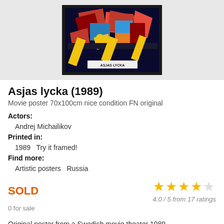[Figure (photo): Movie poster for Asjas lycka (1989) in a dark frame, showing colorful geometric abstract art with red, blue, yellow shapes on black background, with 'ASJAS LYCKA' text label at the bottom]
Asjas lycka (1989)
Movie poster 70x100cm nice condition FN original
Actors:
  Andrej Michailikov
Printed in:
  1989   Try it framed!
Find more:
  Artistic posters   Russia
SOLD
[Figure (other): 4 out of 5 stars rating, 4.0 / 5 from 17 ratings]
0 for sale
Original poster from a Swedish movie theater 1989. Rare, only a few were saved. Great quality in paper and